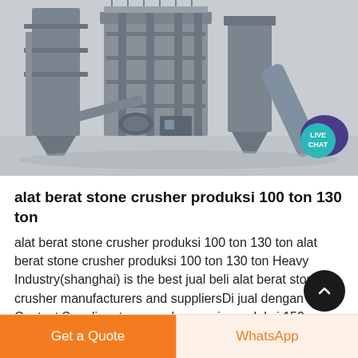[Figure (photo): Industrial stone crusher / heavy machinery equipment photograph showing large metal framework structure with silos, conveyor components, pipes, and support columns on a light background. Live Chat badge in bottom-right corner of image.]
alat berat stone crusher produksi 100 ton 130 ton
alat berat stone crusher produksi 100 ton 130 ton alat berat stone crusher produksi 100 ton 130 ton Heavy Industry(shanghai) is the best jual beli alat berat stone crusher manufacturers and suppliersDi jual dengan Contact Supplier stone crusher mesin produksi 150 sampai 200 ton
Get a Quote   WhatsApp